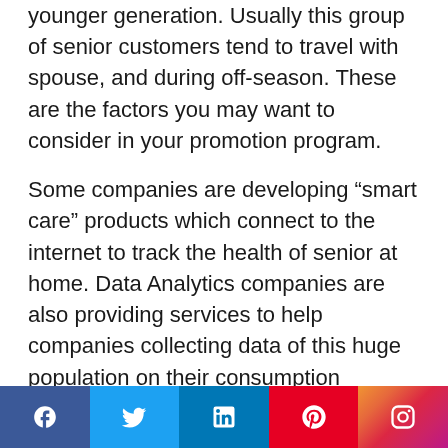younger generation. Usually this group of senior customers tend to travel with spouse, and during off-season. These are the factors you may want to consider in your promotion program.
Some companies are developing “smart care” products which connect to the internet to track the health of senior at home. Data Analytics companies are also providing services to help companies collecting data of this huge population on their consumption patterns and behaviours, and anticipating their needs for company product strategies.
[Figure (other): Social media footer icons: Facebook, Twitter, LinkedIn, Pinterest, Instagram]